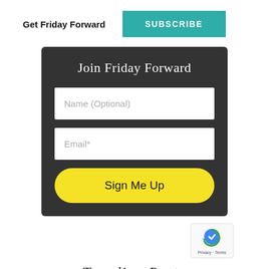Get Friday Forward
SUBSCRIBE
Join Friday Forward
Name (Optional)
Email*
Sign Me Up
Trending Posts